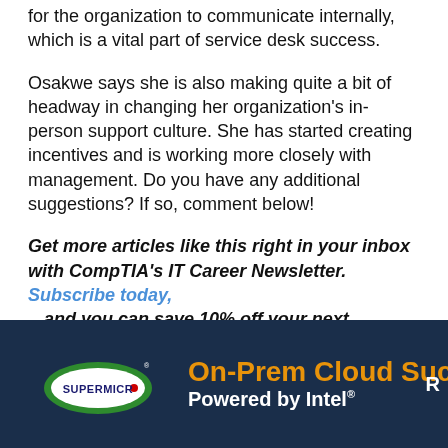for the organization to communicate internally, which is a vital part of service desk success.
Osakwe says she is also making quite a bit of headway in changing her organization's in-person support culture. She has started creating incentives and is working more closely with management. Do you have any additional suggestions? If so, comment below!
Get more articles like this right in your inbox with CompTIA's IT Career Newsletter. Subscribe today, ☞ and you can save 10% off your next CompTIA purchase.
[Figure (logo): Supermicro logo with On-Prem Cloud Success Powered by Intel ad banner on dark navy background]